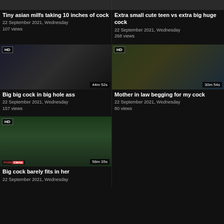[Figure (screenshot): Partial thumbnail of first video top row]
Tiny asian milfs taking 10 inches of cock
22 September 2021, Wednesday
107 views
[Figure (screenshot): Partial thumbnail of second video top row]
Extra small cute teen vs extra big huge cock
22 September 2021, Wednesday
268 views
[Figure (screenshot): HD video thumbnail, 44m 52s, Big big cock in big hole ass]
Big big cock in big hole ass
22 September 2021, Wednesday
157 views
[Figure (screenshot): HD video thumbnail, 30m 54s, Mother in law begging for my cock]
Mother in law begging for my cock
22 September 2021, Wednesday
80 views
[Figure (screenshot): HD video thumbnail, 58m 35s, Big cock barely fits in her]
Big cock barely fits in her
22 September 2021, Wednesday